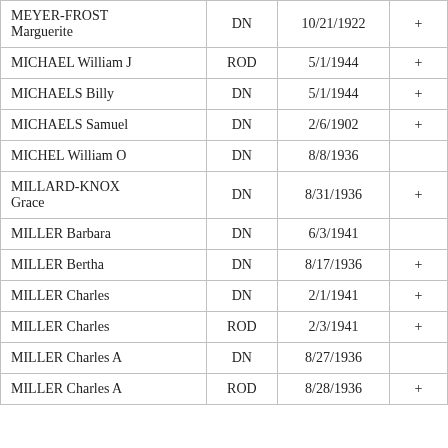| MEYER-FROST Marguerite | DN | 10/21/1922 | + |
| MICHAEL William J | ROD | 5/1/1944 | + |
| MICHAELS Billy | DN | 5/1/1944 | + |
| MICHAELS Samuel | DN | 2/6/1902 | + |
| MICHEL William O | DN | 8/8/1936 |  |
| MILLARD-KNOX Grace | DN | 8/31/1936 | + |
| MILLER Barbara | DN | 6/3/1941 |  |
| MILLER Bertha | DN | 8/17/1936 | + |
| MILLER Charles | DN | 2/1/1941 | + |
| MILLER Charles | ROD | 2/3/1941 | + |
| MILLER Charles A | DN | 8/27/1936 |  |
| MILLER Charles A | ROD | 8/28/1936 | + |